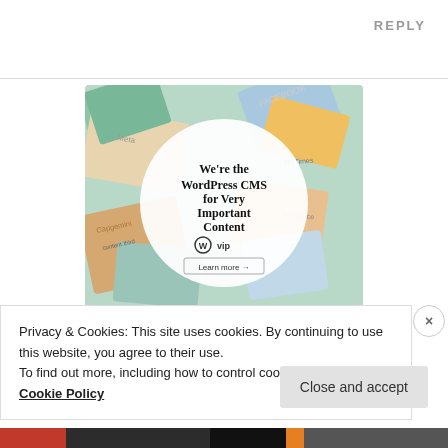REPLY
[Figure (screenshot): WordPress VIP advertisement showing colorful overlapping publication covers/logos (Meta, Facebook, Capgemini, Salesforce, others) with a white circle overlay containing text 'We're the WordPress CMS for Very Important Content' with WordPress VIP logo and 'Learn more →' button]
Privacy & Cookies: This site uses cookies. By continuing to use this website, you agree to their use.
To find out more, including how to control cookies, see here:
Cookie Policy
Close and accept